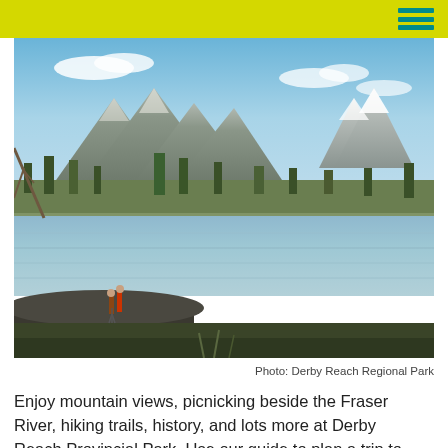[Figure (photo): Scenic view of Derby Reach Regional Park showing a wide calm river with two people standing on a rocky outcrop in the foreground, a forested shoreline across the river, and mountains with snow caps under a blue sky in the background.]
Photo: Derby Reach Regional Park
Enjoy mountain views, picnicking beside the Fraser River, hiking trails, history, and lots more at Derby Reach Provincial Park. Use our guide to plan a trip to this Fort Langley